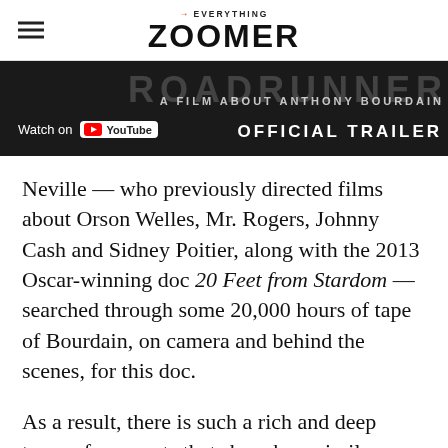→EVERYTHING ZOOMER
[Figure (screenshot): YouTube video screenshot showing 'ROADRUNNER: A FILM ABOUT ANTHONY BOURDAIN — OFFICIAL TRAILER' with Watch on YouTube button overlay on dark background]
Neville — who previously directed films about Orson Welles, Mr. Rogers, Johnny Cash and Sidney Poitier, along with the 2013 Oscar-winning doc 20 Feet from Stardom — searched through some 20,000 hours of tape of Bourdain, on camera and behind the scenes, for this doc.
As a result, there is such a rich and deep trove of moments that show how similar —